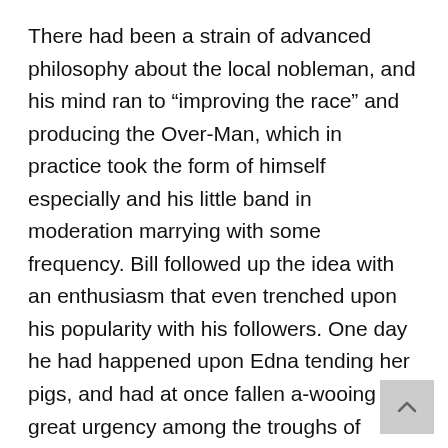There had been a strain of advanced philosophy about the local nobleman, and his mind ran to “improving the race” and producing the Over-Man, which in practice took the form of himself especially and his little band in moderation marrying with some frequency. Bill followed up the idea with an enthusiasm that even trenched upon his popularity with his followers. One day he had happened upon Edna tending her pigs, and had at once fallen a-wooing with great urgency among the troughs of slush. Edna had made a gallant resistance, but he was still vigorously about and extraordinarily impatient. He might, she said, come at any time, and she looked Bert in the eyes. They were back already in the barbaric stage when a man must fight for his love.